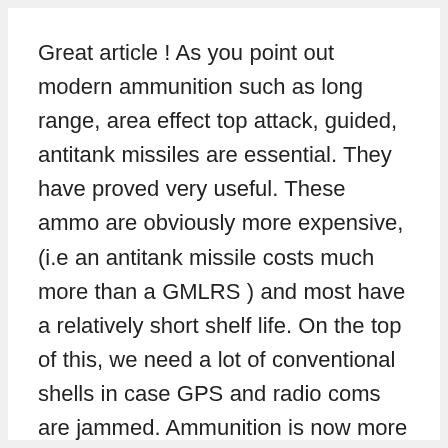Great article ! As you point out modern ammunition such as long range, area effect top attack, guided, antitank missiles are essential. They have proved very useful. These ammo are obviously more expensive, (i.e an antitank missile costs much more than a GMLRS ) and most have a relatively short shelf life. On the top of this, we need a lot of conventional shells in case GPS and radio coms are jammed. Ammunition is now more expensive than ever. Therefore, instead of ruling out the MBTs for good, (yes they are very vulnerable to Bonus type ammo, but so are all fighting vehicles, IFVs, 155s...) there are